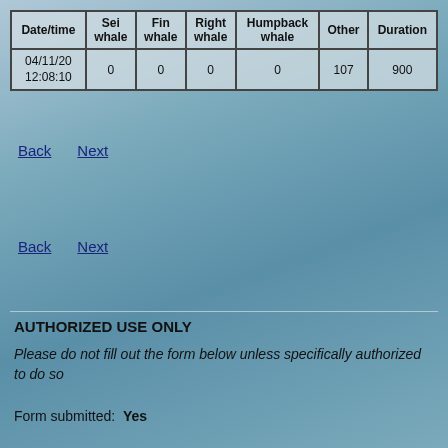| Date/time | Sei whale | Fin whale | Right whale | Humpback whale | Other | Duration |
| --- | --- | --- | --- | --- | --- | --- |
| 04/11/20 12:08:10 | 0 | 0 | 0 | 0 | 107 | 900 |
Back   Next
Back   Next
AUTHORIZED USE ONLY
Please do not fill out the form below unless specifically authorized to do so
Form submitted:  Yes